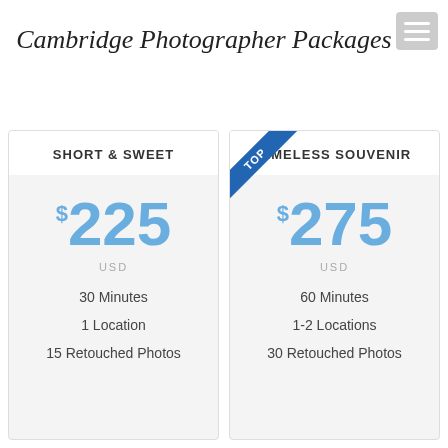Cambridge Photographer Packages
| SHORT & SWEET | TIMELESS SOUVENIR |
| --- | --- |
| $225 | $275 |
| USD | USD |
| 30 Minutes | 60 Minutes |
| 1 Location | 1-2 Locations |
| 15 Retouched Photos | 30 Retouched Photos |